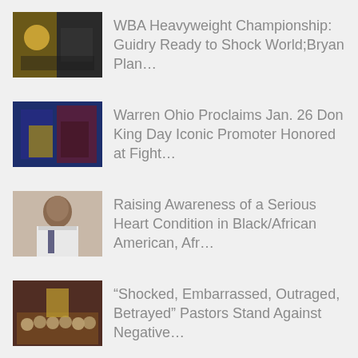[Figure (photo): Thumbnail photo related to WBA Heavyweight Championship boxing event]
WBA Heavyweight Championship: Guidry Ready to Shock World;Bryan Plan…
[Figure (photo): Thumbnail photo of a ceremony where Don King receives a proclamation in Warren Ohio]
Warren Ohio Proclaims Jan. 26 Don King Day Iconic Promoter Honored at Fight…
[Figure (photo): Thumbnail photo of a doctor in white coat and tie]
Raising Awareness of a Serious Heart Condition in Black/African American, Afr…
[Figure (photo): Thumbnail photo of a group of pastors standing together]
“Shocked, Embarrassed, Outraged, Betrayed” Pastors Stand Against Negative…